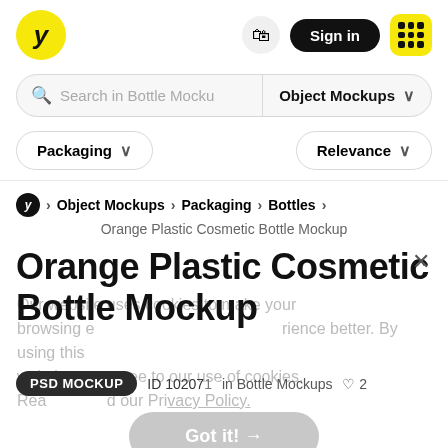[Figure (screenshot): Website navigation header with yellow logo, cart icon, Sign in button, and grid menu button]
Search in Bottle Mocku   Object Mockups  ∨
Packaging ∨   Relevance ∨
Object Mockups > Packaging > Bottles > Orange Plastic Cosmetic Bottle Mockup
Orange Plastic Cosmetic Bottle Mockup
Our website uses cookies to make your browsing experience better. By using this website you agree to our use of cookies. Read our Privacy Policy.
PSD MOCKUP   ID 10207   in Bottle Mockups   ♡ 2
Got it! →